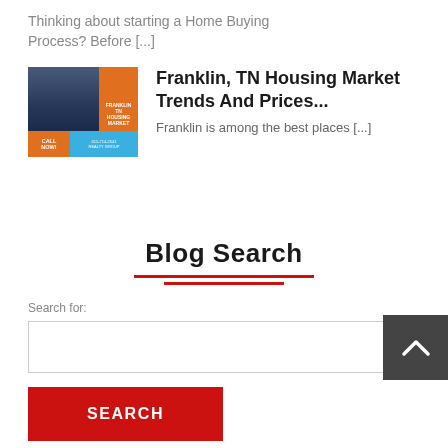Thinking about starting a Home Buying Process? Before [...]
[Figure (photo): Real estate advertisement image showing a house photo with orange and blue overlay panels. Orange panel reads 'FRANKLIN TN HOUSING MARKET'. Bottom bar has orange 'CALL NOW!' button and blue info panel with phone number.]
Franklin, TN Housing Market Trends And Prices...
Franklin is among the best places [...]
Blog Search
Search for:
SEARCH